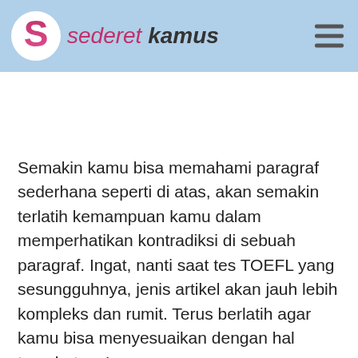sederet kamus
Semakin kamu bisa memahami paragraf sederhana seperti di atas, akan semakin terlatih kemampuan kamu dalam memperhatikan kontradiksi di sebuah paragraf. Ingat, nanti saat tes TOEFL yang sesungguhnya, jenis artikel akan jauh lebih kompleks dan rumit. Terus berlatih agar kamu bisa menyesuaikan dengan hal tersebut, ya!